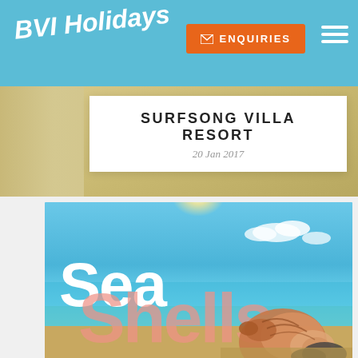BVI Holidays
ENQUIRIES
SURFSONG VILLA RESORT
20 Jan 2017
[Figure (photo): Promotional image for Sea Shells with beach/ocean background, white 'Sea' text and coral/pink 'Shells' text, with a conch shell in the foreground]